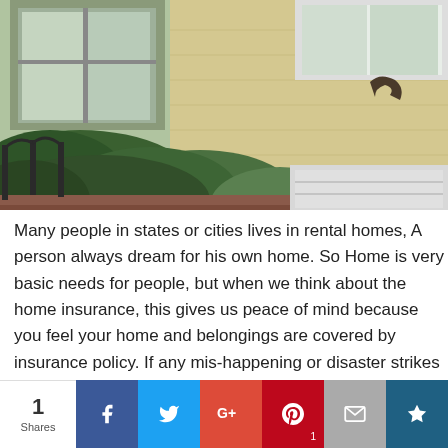[Figure (photo): Photo of a house exterior with yellow siding, white window trim, and green bushes/shrubs in the foreground]
Many people in states or cities lives in rental homes, A person always dream for his own home. So Home is very basic needs for people, but when we think about the home insurance, this gives us peace of mind because you feel your home and belongings are covered by insurance policy. If any mis-happening or disaster strikes your home, financial loss pay by
1 Shares | Facebook | Twitter | Google+ | Pinterest 1 | Email | Crown/bookmark